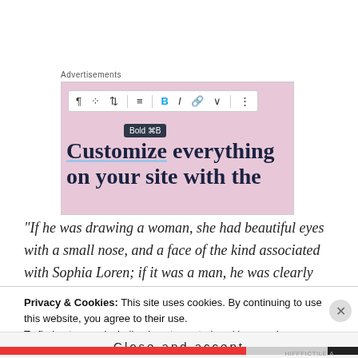Advertisements
[Figure (screenshot): WordPress block editor toolbar screenshot showing formatting options (paragraph, grid, arrows, align, Bold, italic, link, chevron, more) with a tooltip reading 'Bold ⌘B', and text below reading 'Customize everything on your site with the' on a pink background]
“If he was drawing a woman, she had beautiful eyes with a small nose, and a face of the kind associated with Sophia Loren; if it was a man, he was clearly related, but with a reassuringly square jaw.” (The
Privacy & Cookies: This site uses cookies. By continuing to use this website, you agree to their use.
To find out more, including how to control cookies, see here: Cookie Policy
Close and accept